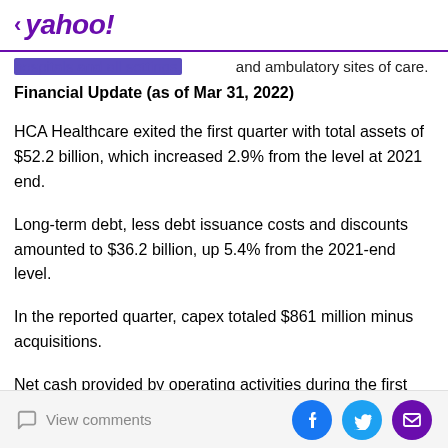< yahoo!
hospitals and all settings, and ambulatory sites of care.
Financial Update (as of Mar 31, 2022)
HCA Healthcare exited the first quarter with total assets of $52.2 billion, which increased 2.9% from the level at 2021 end.
Long-term debt, less debt issuance costs and discounts amounted to $36.2 billion, up 5.4% from the 2021-end level.
In the reported quarter, capex totaled $861 million minus acquisitions.
Net cash provided by operating activities during the first
View comments